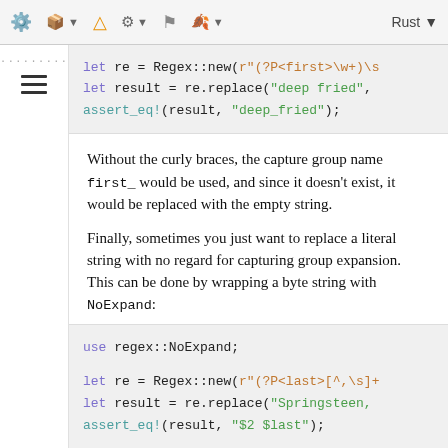Rust toolbar header
[Figure (screenshot): Code block showing Rust regex replace with named capture group: let re = Regex::new(r"(?P<first>\w+)\s ... let result = re.replace("deep fried", ... assert_eq!(result, "deep_fried");]
Without the curly braces, the capture group name first_ would be used, and since it doesn't exist, it would be replaced with the empty string.
Finally, sometimes you just want to replace a literal string with no regard for capturing group expansion. This can be done by wrapping a byte string with NoExpand:
[Figure (screenshot): Code block showing: use regex::NoExpand; let re = Regex::new(r"(?P<last>[^,\s]+... let result = re.replace("Springsteen, ... assert_eq!(result, "$2 $last");]